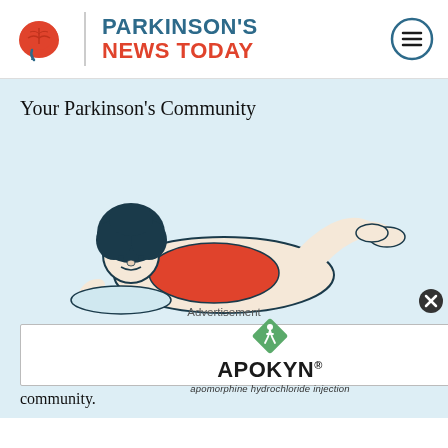[Figure (logo): Parkinson's News Today logo with brain icon and site name]
Your Parkinson's Community
[Figure (illustration): Cartoon illustration of a person with afro hair lying on their stomach on a pillow, looking at a smartphone, wearing a red shirt]
Advertisement
[Figure (logo): APOKYN (apomorphine hydrochloride injection) advertisement logo with green diamond icon]
to community.